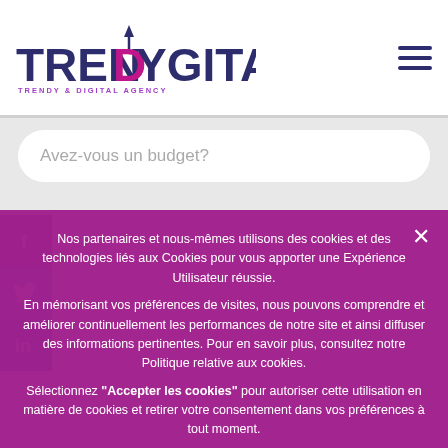[Figure (logo): TrenDygital logo - TRENDY & DIGITAL AGENCY with purple arrow above N]
[Figure (infographic): Hamburger menu icon (three horizontal lines) in dark navy blue]
Avez-vous un budget?
[Figure (infographic): Facebook, Twitter, LinkedIn social media icons strip on left side]
Parlez-nous de votre projet puis cliquer sur
Nos partenaires et nous-mêmes utilisons des cookies et des technologies liés aux Cookies pour vous apporter une Expérience Utilisateur réussie.

En mémorisant vos préférences de visites, nous pouvons comprendre et améliorer continuellement les performances de notre site et ainsi diffuser des informations pertinentes. Pour en savoir plus, consultez notre Politique relative aux cookies.

Sélectionnez "Accepter les cookies" pour autoriser cette utilisation en matière de cookies et retirer votre consentement dans vos préférences à tout moment.
Accepter les cookies
Politique relative aux cookies